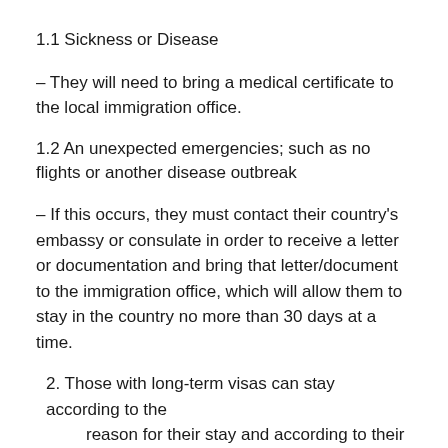1.1 Sickness or Disease
– They will need to bring a medical certificate to the local immigration office.
1.2 An unexpected emergencies; such as no flights or another disease outbreak
– If this occurs, they must contact their country's embassy or consulate in order to receive a letter or documentation and bring that letter/document to the immigration office, which will allow them to stay in the country no more than 30 days at a time.
2. Those with long-term visas can stay according to the reason for their stay and according to their visa type.